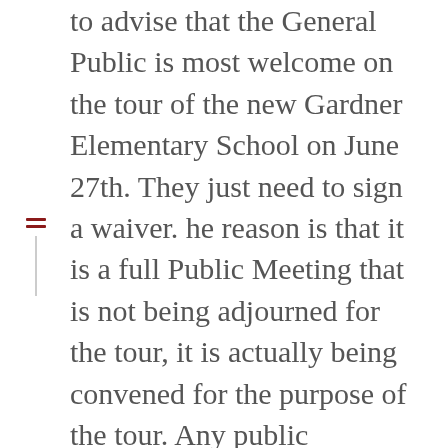to advise that the General Public is most welcome on the tour of the new Gardner Elementary School on June 27th. They just need to sign a waiver. he reason is that it is a full Public Meeting that is not being adjourned for the tour, it is actually being convened for the purpose of the tour. Any public meeting may be attended by any member of the public. We were previously advised by both City Hall and the Superintendent's office that the public could not attend due to safety protocols – however, the Mayor has now stated that as long as the waiver is signed, full public meeting rights apply. So in case any of you are wondering if